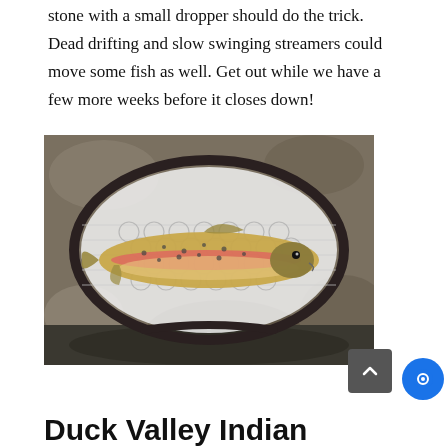stone with a small dropper should do the trick. Dead drifting and slow swinging streamers could move some fish as well. Get out while we have a few more weeks before it closes down!
[Figure (photo): A rainbow trout in a fishing net resting on a rocky surface near water. The net has a white mesh hexagonal pattern with a dark frame.]
Duck Valley Indian